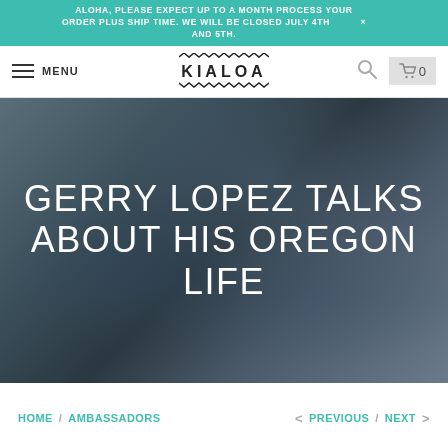ALOHA, PLEASE EXPECT UP TO A MONTH PROCESS YOUR ORDER PLUS SHIP TIME. WE WILL BE CLOSED JULY 4TH AND 5TH.
[Figure (screenshot): KIALOA website navigation bar with hamburger menu (MENU), KIALOA logo in center, search icon and cart (0) on right]
[Figure (photo): Hero image with dark blueish-grey ocean/wave background with large white uppercase text overlay]
GERRY LOPEZ TALKS ABOUT HIS OREGON LIFE
HOME / AMBASSADORS
< PREVIOUS / NEXT >